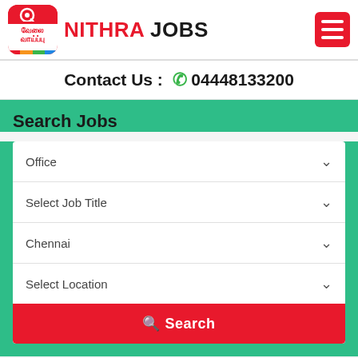NITHRA JOBS
Contact Us : 04448133200
Search Jobs
Office
Select Job Title
Chennai
Select Location
Search
Latest office Job Vacancy in Chennai
Are you fine for office jobs in Chennai? Job th...